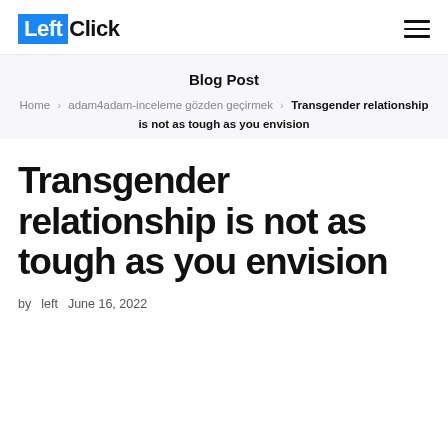Left Click
Blog Post
Home > adam4adam-inceleme gözden geçirmek > Transgender relationship is not as tough as you envision
Transgender relationship is not as tough as you envision
by left   June 16, 2022